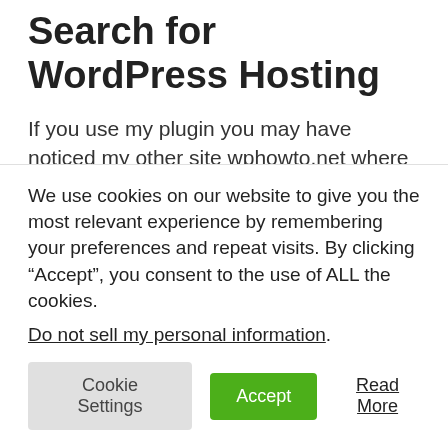Search for WordPress Hosting
If you use my plugin you may have noticed my other site wphowto.net where I write how-to tutorials on WordPress. This site was originally hosted on GoDaddy a few years back. After encountering frequent downtime and 500 internal server error I was forced to move to a new web host – SiteGround.
We use cookies on our website to give you the most relevant experience by remembering your preferences and repeat visits. By clicking “Accept”, you consent to the use of ALL the cookies. Do not sell my personal information.
Cookie Settings | Accept | Read More